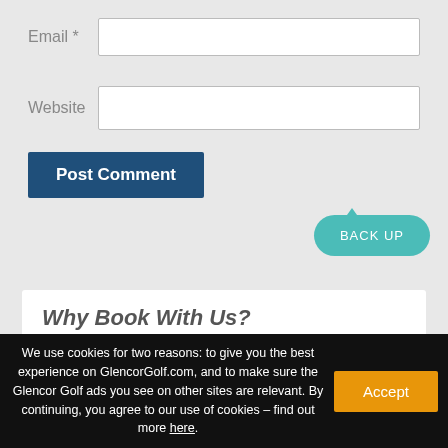Email *
Website
Post Comment
BACK UP
Why Book With Us?
Great Prices
We offer low prices on all our golf breaks and golf holidays in the UK and abroad.
We use cookies for two reasons: to give you the best experience on GlencorGolf.com, and to make sure the Glencor Golf ads you see on other sites are relevant. By continuing, you agree to our use of cookies – find out more here.